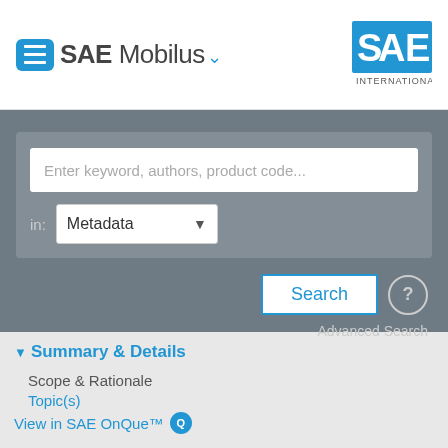SAE Mobilus
[Figure (logo): SAE International logo in blue and gray on upper right]
[Figure (screenshot): Search interface with text input 'Enter keyword, authors, product code...', a dropdown labeled 'Metadata', a Search button, and Advanced Search link]
Summary & Details
Scope & Rationale
Topic(s)
View in SAE OnQue™